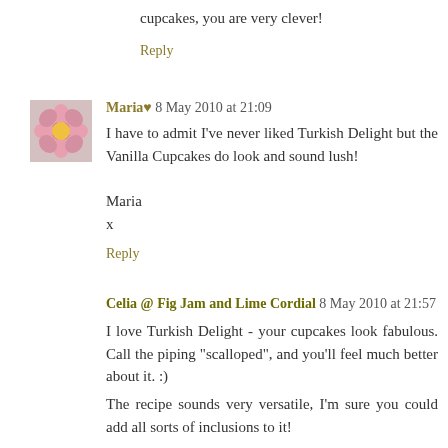cupcakes, you are very clever!
Reply
Maria♥ 8 May 2010 at 21:09
I have to admit I've never liked Turkish Delight but the Vanilla Cupcakes do look and sound lush!

Maria
x
Reply
Celia @ Fig Jam and Lime Cordial 8 May 2010 at 21:57
I love Turkish Delight - your cupcakes look fabulous. Call the piping "scalloped", and you'll feel much better about it. :)

The recipe sounds very versatile, I'm sure you could add all sorts of inclusions to it!